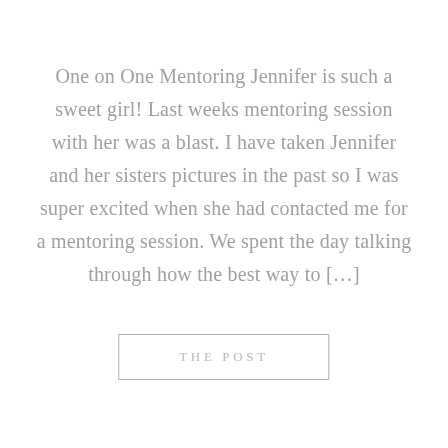One on One Mentoring Jennifer is such a sweet girl! Last weeks mentoring session with her was a blast. I have taken Jennifer and her sisters pictures in the past so I was super excited when she had contacted me for a mentoring session. We spent the day talking through how the best way to […]
THE POST